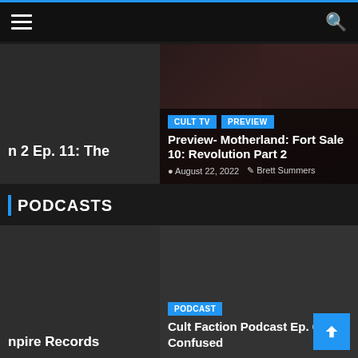Navigation bar with hamburger menu and search icon
[Figure (screenshot): Partially visible article card with dark background and white bold text: 'n 2 Ep. 11: The']
[Figure (screenshot): Article card with photo of woman (Motherland Fort Salem), badges 'CULT TV' and 'PREVIEW', title 'Preview- Motherland: Fort Salem 10: Revolution Part 2', date August 22, 2022, author Brett Summers]
PODCASTS
[Figure (screenshot): Partially visible podcast card with dark background and white text: 'npire Records']
[Figure (screenshot): Podcast card with dark background, badge 'PODCAST', title 'Cult Faction Podcast Ep. 65: Da Confused']